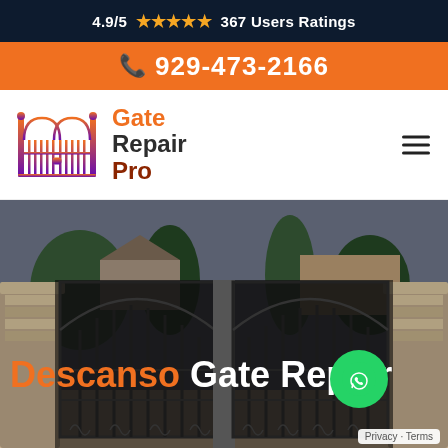4.9/5 ★★★★★ 367 Users Ratings
929-473-2166
[Figure (logo): Gate Repair Pro logo with stylized gate icon in orange/purple gradient and text 'Gate Repair Pro']
[Figure (photo): Large ornamental wrought iron double gate open slightly with stone pillars and trees in background. Text overlay reads 'Descanso Gate Repair' with a green phone/WhatsApp button.]
Descanso Gate Repair
Privacy · Terms